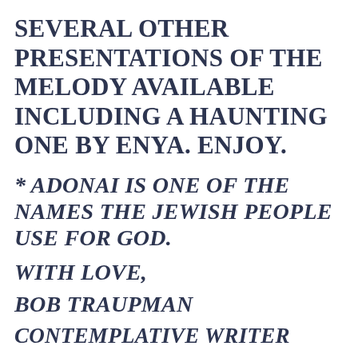SEVERAL OTHER PRESENTATIONS OF THE MELODY AVAILABLE INCLUDING A HAUNTING ONE BY ENYA. ENJOY.
* ADONAI IS ONE OF THE NAMES THE JEWISH PEOPLE USE FOR GOD.
WITH LOVE,
BOB TRAUPMAN
CONTEMPLATIVE WRITER